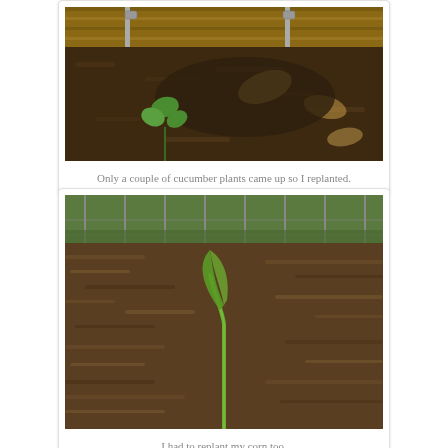[Figure (photo): Close-up photo of a small cucumber seedling sprouting from dark mulch/compost soil near a wooden raised bed frame with metal stakes]
Only a couple of cucumber plants came up so I replanted.
[Figure (photo): Photo of a single corn seedling sprouting from a large mulched garden bed with dry wood chip mulch, fencing and green grass visible in the background]
I had to replant my corn too.